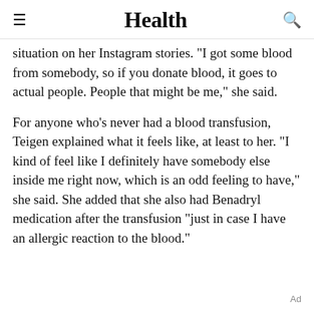Health
situation on her Instagram stories. "I got some blood from somebody, so if you donate blood, it goes to actual people. People that might be me," she said.
For anyone who's never had a blood transfusion, Teigen explained what it feels like, at least to her. "I kind of feel like I definitely have somebody else inside me right now, which is an odd feeling to have," she said. She added that she also had Benadryl medication after the transfusion "just in case I have an allergic reaction to the blood."
Ad